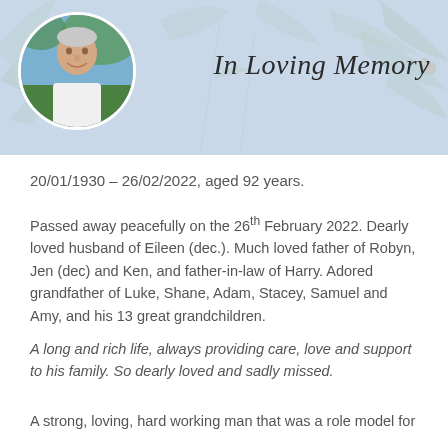[Figure (photo): Memorial header with light blue background featuring faded botanical/leaf motifs. A circular portrait photo of an elderly smiling man is in the upper left. Cursive text 'In Loving Memory' appears on the right side of the banner.]
20/01/1930 – 26/02/2022, aged 92 years.
Passed away peacefully on the 26th February 2022. Dearly loved husband of Eileen (dec.). Much loved father of Robyn, Jen (dec) and Ken, and father-in-law of Harry. Adored grandfather of Luke, Shane, Adam, Stacey, Samuel and Amy, and his 13 great grandchildren.
A long and rich life, always providing care, love and support to his family. So dearly loved and sadly missed.
A strong, loving, hard working man that was a role model for